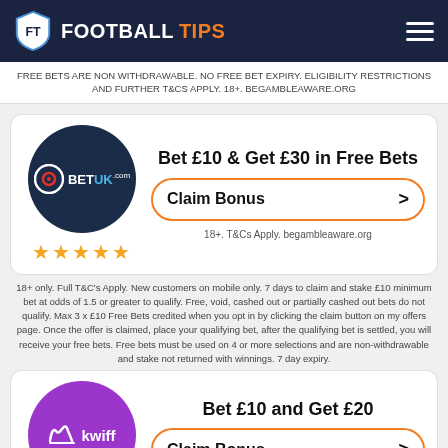FOOTBALL TIPS
FREE BETS ARE NON WITHDRAWABLE. NO FREE BET EXPIRY. ELIGIBILITY RESTRICTIONS AND FURTHER T&CS APPLY. 18+. BEGAMBLEAWARE.ORG
[Figure (logo): BetUK logo in dark circle with 5 gold stars]
Bet £10 & Get £30 in Free Bets
Claim Bonus
18+. T&Cs Apply. begambleaware.org
18+ only. Full T&C's Apply. New customers on mobile only. 7 days to claim and stake £10 minimum bet at odds of 1.5 or greater to qualify. Free, void, cashed out or partially cashed out bets do not qualify. Max 3 x £10 Free Bets credited when you opt in by clicking the claim button on my offers page. Once the offer is claimed, place your qualifying bet, after the qualifying bet is settled, you will receive your free bets. Free bets must be used on 4 or more selections and are non-withdrawable and stake not returned with winnings. 7 day expiry.
[Figure (logo): Kwiff logo in purple circle]
Bet £10 and Get £20
Claim Bonus